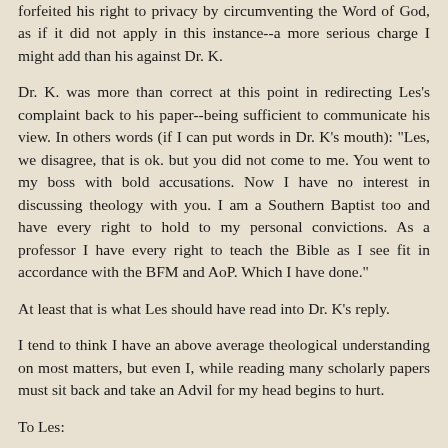forfeited his right to privacy by circumventing the Word of God, as if it did not apply in this instance--a more serious charge I might add than his against Dr. K.
Dr. K. was more than correct at this point in redirecting Les's complaint back to his paper--being sufficient to communicate his view. In others words (if I can put words in Dr. K's mouth): "Les, we disagree, that is ok. but you did not come to me. You went to my boss with bold accusations. Now I have no interest in discussing theology with you. I am a Southern Baptist too and have every right to hold to my personal convictions. As a professor I have every right to teach the Bible as I see fit in accordance with the BFM and AoP. Which I have done."
At least that is what Les should have read into Dr. K's reply.
I tend to think I have an above average theological understanding on most matters, but even I, while reading many scholarly papers must sit back and take an Advil for my head begins to hurt.
To Les: